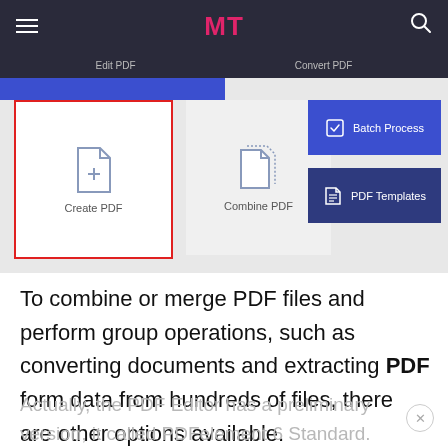[Figure (screenshot): Mobile app navigation bar with hamburger menu, MT logo in pink/red, and search icon on dark background. Below is a sub-nav bar with Edit PDF and Convert PDF labels.]
[Figure (screenshot): PDF editor app UI showing Create PDF (highlighted with red border), Combine PDF, Batch Process (blue button), and PDF Templates (dark blue button) options.]
To combine or merge PDF files and perform group operations, such as converting documents and extracting PDF form data from hundreds of files, there are other options available.
Actually, the PDF Editor has a preliminary version, it called PDFelement 6 Standard.